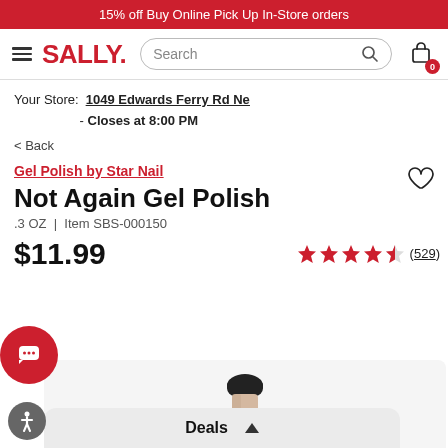15% off Buy Online Pick Up In-Store orders
[Figure (logo): Sally Beauty logo and navigation bar with hamburger menu, search bar, and cart icon showing 0 items]
Your Store: 1049 Edwards Ferry Rd Ne - Closes at 8:00 PM
< Back
Gel Polish by Star Nail
Not Again Gel Polish
.3 OZ | Item SBS-000150
$11.99
(529)
[Figure (photo): Product photo of Not Again Gel Polish bottle, partially visible at the bottom of the page]
Deals ▲